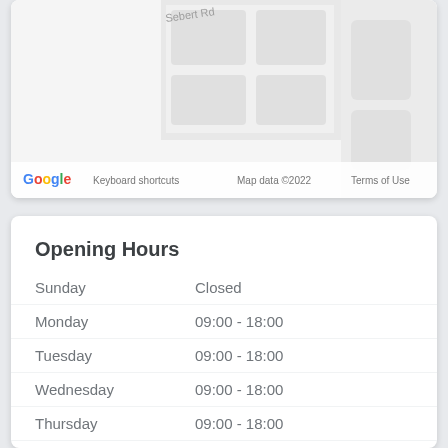[Figure (map): Google Maps screenshot showing Sebert Rd street map with Google logo, Keyboard shortcuts, Map data ©2022, Terms of Use]
Opening Hours
| Day | Hours |
| --- | --- |
| Sunday | Closed |
| Monday | 09:00 - 18:00 |
| Tuesday | 09:00 - 18:00 |
| Wednesday | 09:00 - 18:00 |
| Thursday | 09:00 - 18:00 |
| Friday | 09:00 - 18:00 |
| Saturday | Closed |